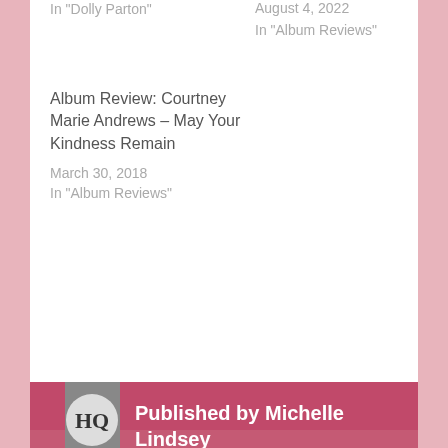In "Dolly Parton"
August 4, 2022
In "Album Reviews"
Album Review: Courtney Marie Andrews – May Your Kindness Remain
March 30, 2018
In "Album Reviews"
Published by Michelle Lindsey
I'm a music blogger based in Scotland. You are what you love, not what loves you back.
View all posts by Michelle Lindsey